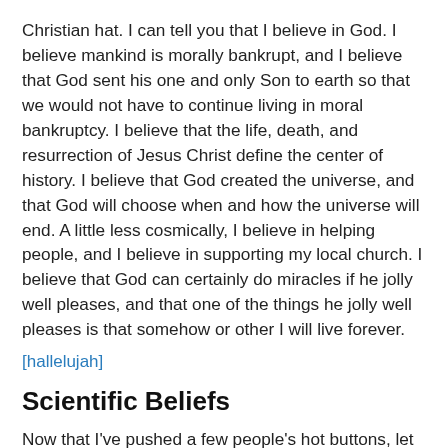Christian hat. I can tell you that I believe in God. I believe mankind is morally bankrupt, and I believe that God sent his one and only Son to earth so that we would not have to continue living in moral bankruptcy. I believe that the life, death, and resurrection of Jesus Christ define the center of history. I believe that God created the universe, and that God will choose when and how the universe will end. A little less cosmically, I believe in helping people, and I believe in supporting my local church. I believe that God can certainly do miracles if he jolly well pleases, and that one of the things he jolly well pleases is that somehow or other I will live forever.
[hallelujah]
Scientific Beliefs
Now that I've pushed a few people's hot buttons, let me push an entirely different set of hot buttons by